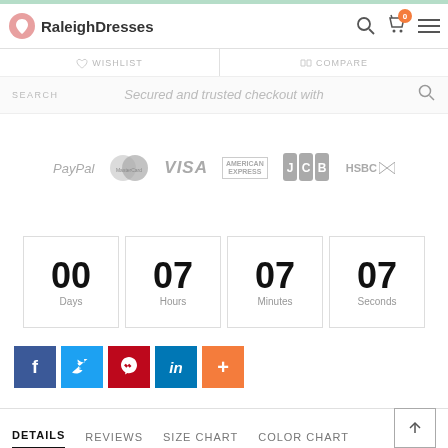[Figure (screenshot): RaleighDresses website header with logo, wishlist, compare, search, cart and menu icons]
Secured and trusted checkout with
[Figure (infographic): Payment logos: PayPal, MasterCard, VISA, American Express, JCB, HSBC]
[Figure (infographic): Countdown timer showing 00 Days, 07 Hours, 07 Minutes, 07 Seconds]
[Figure (infographic): Social share buttons: Facebook, Twitter, Pinterest, LinkedIn, More]
[Figure (infographic): Page tabs: DETAILS (active), REVIEWS, SIZE CHART, COLOR CHART with back-to-top button]